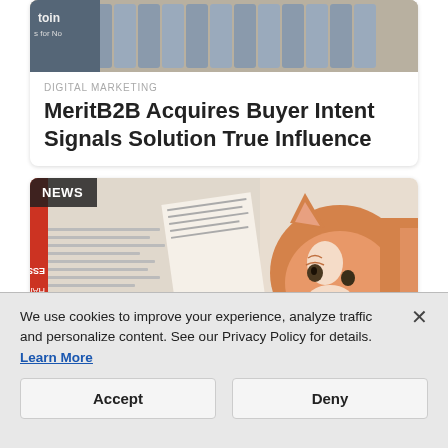[Figure (photo): Top portion of an article card showing stacked cans/bottles in a store shelf background, partially cropped]
DIGITAL MARKETING
MeritB2B Acquires Buyer Intent Signals Solution True Influence
[Figure (photo): Photo of an orange tabby cat peering over a newspaper that is spread open; a red book spine visible on the left; NEWS badge overlay in top-left corner]
We use cookies to improve your experience, analyze traffic and personalize content. See our Privacy Policy for details.
Learn More
Accept
Deny